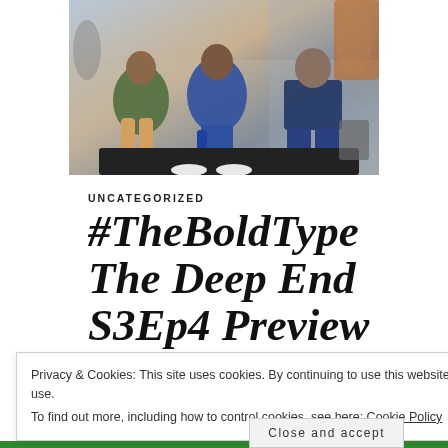[Figure (photo): Three young women sitting together in what appears to be a modern lobby or public space. They are stylishly dressed; one wears a blue patterned outfit, another a black top with a printed skirt, and one in blue jeans and casual top.]
UNCATEGORIZED
#TheBoldType The Deep End S3Ep4 Preview
Privacy & Cookies: This site uses cookies. By continuing to use this website, you agree to their use.
To find out more, including how to control cookies, see here: Cookie Policy
Close and accept